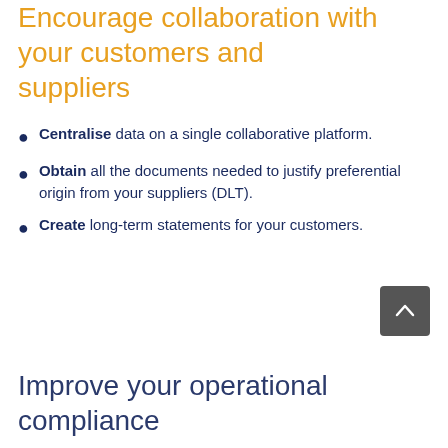Encourage collaboration with your customers and suppliers
Centralise data on a single collaborative platform.
Obtain all the documents needed to justify preferential origin from your suppliers (DLT).
Create long-term statements for your customers.
Improve your operational compliance